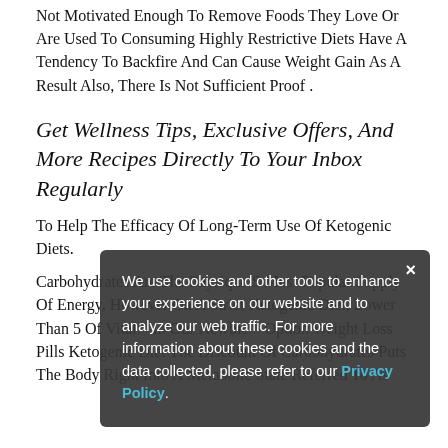Not Motivated Enough To Remove Foods They Love Or Are Used To Consuming Highly Restrictive Diets Have A Tendency To Backfire And Can Cause Weight Gain As A Result Also, There Is Not Sufficient Proof .
Get Wellness Tips, Exclusive Offers, And More Recipes Directly To Your Inbox Regularly
To Help The Efficacy Of Long-Term Use Of Ketogenic Diets.
Carbohydrates Are The Physique S Most Popular Supply Of Energy, However On A Strict Ketogenic Diet, Lower Than 5 Of Vital... In Our Newbie... Option Weight Loss Pills Ketogenic Diet The Discount Of Carbohydrates Puts The Body Right Into A Metabolic State Referred To As
We use cookies and other tools to enhance your experience on our website and to analyze our web traffic. For more information about these cookies and the data collected, please refer to our Privacy Policy.